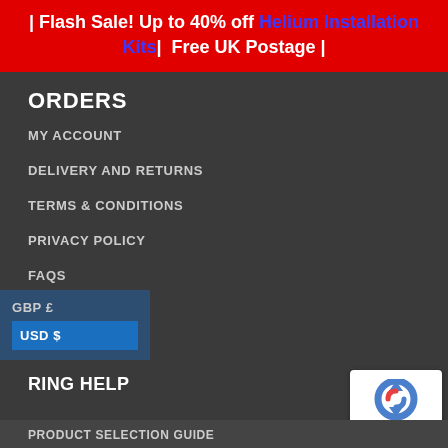| Flash Sale! Up to 40% off Helium Installation Kits| Free UK Postage |
ORDERS
MY ACCOUNT
DELIVERY AND RETURNS
TERMS & CONDITIONS
PRIVACY POLICY
FAQS
GBP £
USD $
RING HELP
[Figure (logo): reCAPTCHA logo with Privacy and Terms text]
PRODUCT SELECTION GUIDE